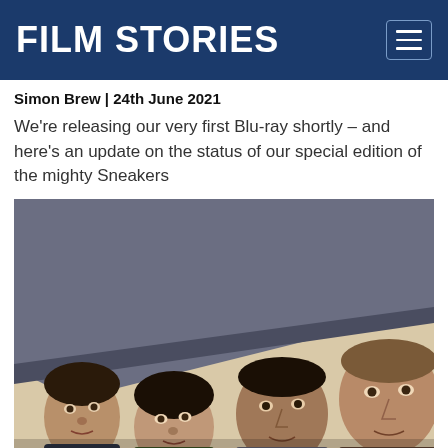FILM STORIES
Simon Brew | 24th June 2021
We're releasing our very first Blu-ray shortly – and here's an update on the status of our special edition of the mighty Sneakers
[Figure (photo): Movie promotional image showing four actors – three men and a woman – peering out from under a dark surface/roof, with close-up faces looking toward camera. Film is Sneakers (1992).]